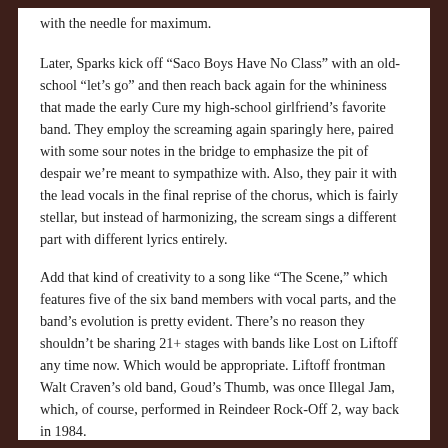with the needle for maximum.
Later, Sparks kick off “Saco Boys Have No Class” with an old-school “let’s go” and then reach back again for the whininess that made the early Cure my high-school girlfriend’s favorite band. They employ the screaming again sparingly here, paired with some sour notes in the bridge to emphasize the pit of despair we’re meant to sympathize with. Also, they pair it with the lead vocals in the final reprise of the chorus, which is fairly stellar, but instead of harmonizing, the scream sings a different part with different lyrics entirely.
Add that kind of creativity to a song like “The Scene,” which features five of the six band members with vocal parts, and the band’s evolution is pretty evident. There’s no reason they shouldn’t be sharing 21+ stages with bands like Lost on Liftoff any time now. Which would be appropriate. Liftoff frontman Walt Craven’s old band, Goud’s Thumb, was once Illegal Jam, which, of course, performed in Reindeer Rock-Off 2, way back in 1984.
Some young bands just don’t go away.